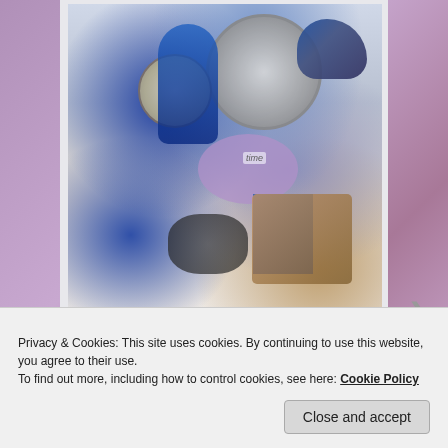[Figure (photo): A collage artwork showing clocks, watches, a blue bird, blue figurines, purple shapes, and a brown textured object. Artist name 'Sally Swain' written in orange at the bottom.]
— Bird O'Clock 2
Sally Swain play-in-progress
Privacy & Cookies: This site uses cookies. By continuing to use this website, you agree to their use.
To find out more, including how to control cookies, see here: Cookie Policy
Close and accept